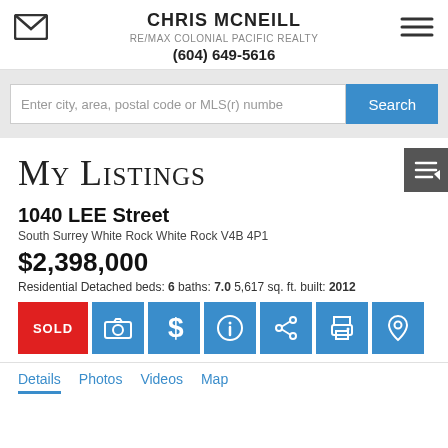CHRIS MCNEILL
RE/MAX COLONIAL PACIFIC REALTY
(604) 649-5616
Enter city, area, postal code or MLS(r) numbe
My Listings
1040 LEE Street
South Surrey White Rock White Rock V4B 4P1
$2,398,000
Residential Detached beds: 6 baths: 7.0 5,617 sq. ft. built: 2012
SOLD
Details  Photos  Videos  Map